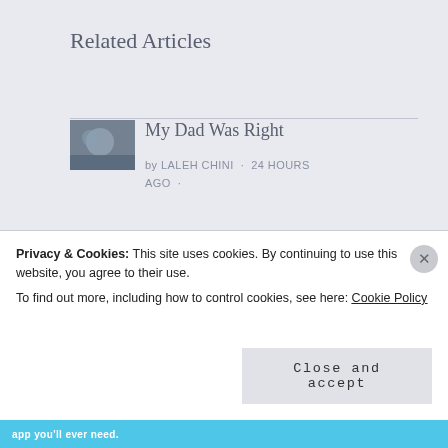Related Articles
[Figure (photo): Small thumbnail image for article 'My Dad Was Right' - dark toned photo]
My Dad Was Right
by LALEH CHINI · 24 HOURS AGO ·
[Figure (photo): Small thumbnail image for article '"1453rd" Reviews and comments' - book/movie cover image]
“1453rd” Reviews and comments
Privacy & Cookies: This site uses cookies. By continuing to use this website, you agree to their use.
To find out more, including how to control cookies, see here: Cookie Policy
Close and accept